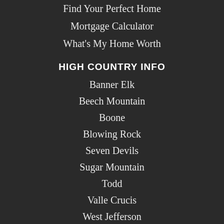Find Your Perfect Home
Mortgage Calculator
What's My Home Worth
HIGH COUNTRY INFO
Banner Elk
Beech Mountain
Boone
Blowing Rock
Seven Devils
Sugar Mountain
Todd
Valle Crucis
West Jefferson
ABOUT
About